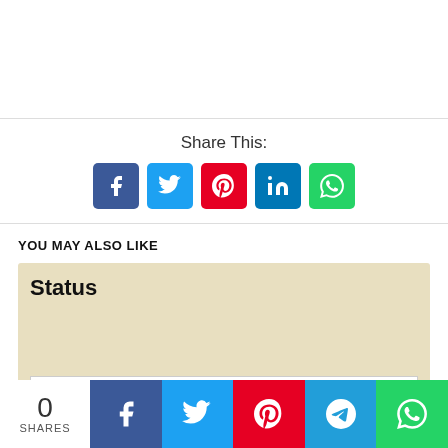Share This:
[Figure (infographic): Social share buttons: Facebook (blue), Twitter (cyan), Pinterest (red), LinkedIn (blue), WhatsApp (green)]
YOU MAY ALSO LIKE
[Figure (screenshot): Card with beige background showing 'Status' heading and a link box reading 'Punjabi Song Amrinder Gill' in red]
Challa Mud Ke nahi Aaya Whatsapp Status - Statuspb
[Figure (infographic): Bottom share bar: 0 SHARES count, then Facebook, Twitter, Pinterest, Telegram, WhatsApp buttons]